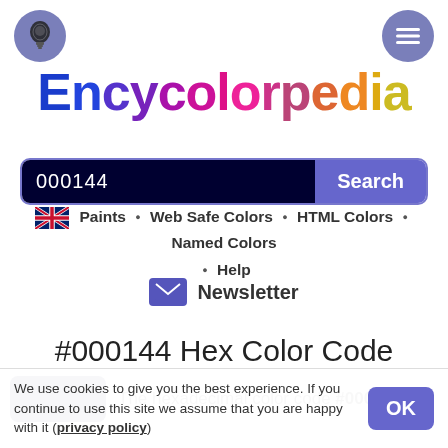[Figure (screenshot): Encycolorpedia website header with lightbulb icon and hamburger menu icon]
Encycolorpedia
000144  Search
Paints • Web Safe Colors • HTML Colors • Named Colors • Help
Newsletter
#000144 Hex Color Code
The hexadecimal color code #000144 is a
We use cookies to give you the best experience. If you continue to use this site we assume that you are happy with it (privacy policy)